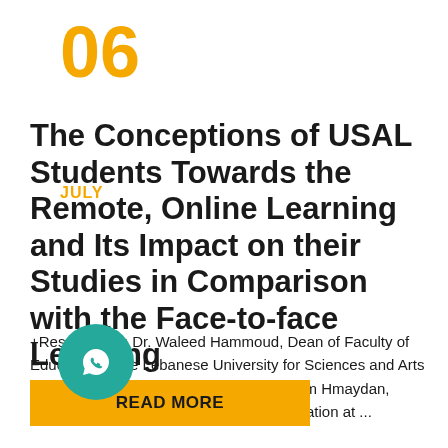06
JULY
The Conceptions of USAL Students Towards the Remote, Online Learning and Its Impact on their Studies in Comparison with the Face-to-face Learning
+Researchers: Dr. Waleed Hammoud, Dean of Faculty of Education at the Lebanese University for Sciences and Arts (USAL) w.hamoud@usal.edu.lb Dr. Mariam Hmaydan, Head of Department of Principles of Education at ...
READ MORE